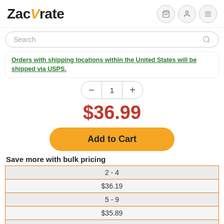ZacUrate — navigation header with cart, account, and menu icons
Search
Orders with shipping locations within the United States will be shipped via USPS.
$36.99
Add to Cart
Save more with bulk pricing
| Quantity | Price |
| --- | --- |
| 2 - 4 | $36.19 |
| 5 - 9 | $35.89 |
| 10 - 19 |  |